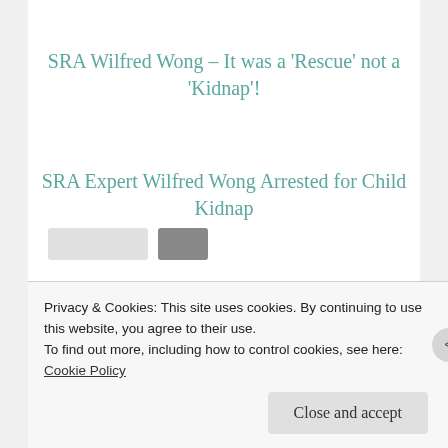SRA Wilfred Wong – It was a 'Rescue' not a 'Kidnap'!
SRA Expert Wilfred Wong Arrested for Child Kidnap
Share this:
Twitter
Facebook
Privacy & Cookies: This site uses cookies. By continuing to use this website, you agree to their use.
To find out more, including how to control cookies, see here: Cookie Policy
Close and accept